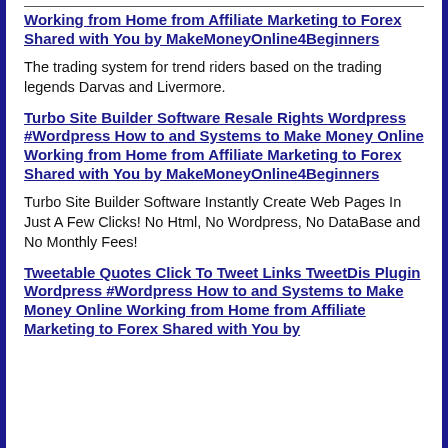Working from Home from Affiliate Marketing to Forex Shared with You by MakeMoneyOnline4Beginners
The trading system for trend riders based on the trading legends Darvas and Livermore.
Turbo Site Builder Software Resale Rights Wordpress #Wordpress How to and Systems to Make Money Online Working from Home from Affiliate Marketing to Forex Shared with You by MakeMoneyOnline4Beginners
Turbo Site Builder Software Instantly Create Web Pages In Just A Few Clicks! No Html, No Wordpress, No DataBase and No Monthly Fees!
Tweetable Quotes Click To Tweet Links TweetDis Plugin Wordpress #Wordpress How to and Systems to Make Money Online Working from Home from Affiliate Marketing to Forex Shared with You by